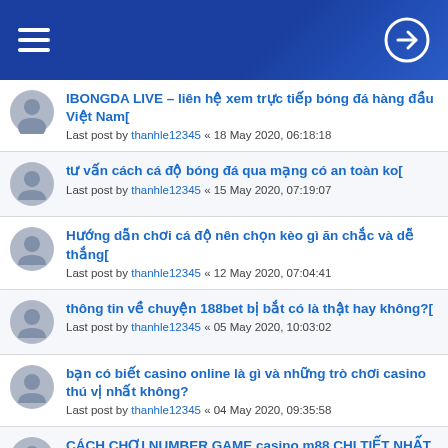Navigation header with hamburger menu and login icon
IBONGDA LIVE – liên hệ xem trực tiếp bóng đá hàng đầu Việt Nam[
Last post by thanhle12345 « 18 May 2020, 06:18:18
tư vấn cách cá độ bóng đá qua mạng có an toàn ko[
Last post by thanhle12345 « 15 May 2020, 07:19:07
Hướng dẫn chơi cá độ nên chọn kèo gì ăn chắc và dễ thắng[
Last post by thanhle12345 « 12 May 2020, 07:04:41
thông tin về chuyện 188bet bị bắt có là thật hay không?[
Last post by thanhle12345 « 05 May 2020, 10:03:02
bạn có biết casino online là gì và những trò chơi casino thú vị nhất không?
Last post by thanhle12345 « 04 May 2020, 09:35:58
CÁCH CHƠI NUMBER GAME casino m88 CHI TIẾT NHẤT [
Last post by thanhle12345 « 20 Apr 2020, 06:23:22
cơ cở sách của chobet bằng điện thoại chi tiết nhất dành...